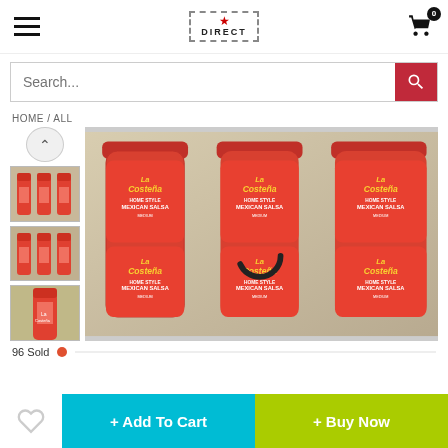[Figure (screenshot): E-commerce product page header with hamburger menu, DIRECT logo, and shopping cart with 0 badge]
[Figure (screenshot): Search bar with placeholder text 'Search...' and red search button]
HOME / ALL
[Figure (photo): Product page showing La Costeña Home Style Mexican Salsa Medium bottles (3 large bottles in main image, plus 3 thumbnail images on left including up arrow navigation)]
96 Sold
[Figure (screenshot): Bottom action bar with wishlist heart icon, '+ Add To Cart' cyan button, and '+ Buy Now' lime green button]